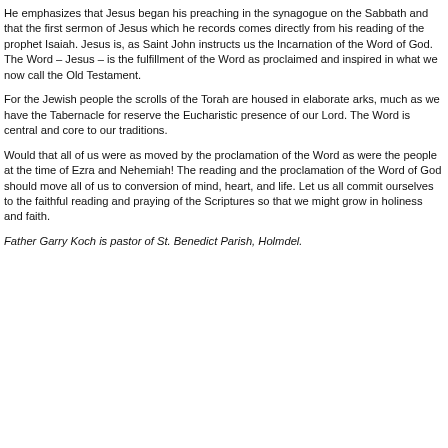He emphasizes that Jesus began his preaching in the synagogue on the Sabbath and that the first sermon of Jesus which he records comes directly from his reading of the prophet Isaiah. Jesus is, as Saint John instructs us the Incarnation of the Word of God. The Word – Jesus – is the fulfillment of the Word as proclaimed and inspired in what we now call the Old Testament.
For the Jewish people the scrolls of the Torah are housed in elaborate arks, much as we have the Tabernacle for reserve the Eucharistic presence of our Lord. The Word is central and core to our traditions.
Would that all of us were as moved by the proclamation of the Word as were the people at the time of Ezra and Nehemiah! The reading and the proclamation of the Word of God should move all of us to conversion of mind, heart, and life. Let us all commit ourselves to the faithful reading and praying of the Scriptures so that we might grow in holiness and faith.
Father Garry Koch is pastor of St. Benedict Parish, Holmdel.